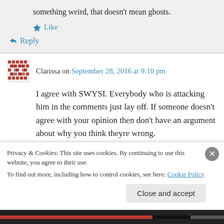something weird, that doesn't mean ghosts.
Like
Reply
Clarissa on September 28, 2016 at 9:10 pm
I agree with SWYSI. Everybody who is attacking him in the comments just lay off. If someone doesn't agree with your opinion then don't have an argument about why you think theyre wrong.
Privacy & Cookies: This site uses cookies. By continuing to use this website, you agree to their use.
To find out more, including how to control cookies, see here: Cookie Policy
Close and accept